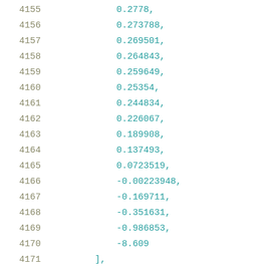4155    0.2778,
4156    0.273788,
4157    0.269501,
4158    0.264843,
4159    0.259649,
4160    0.25354,
4161    0.244834,
4162    0.226067,
4163    0.189908,
4164    0.137493,
4165    0.0723519,
4166    -0.00223948,
4167    -0.169711,
4168    -0.351631,
4169    -0.986853,
4170    -8.609
4171    ],
4172    [
4173        12.1895,
4174        3.10877,
4175        1.00022,
4176        0.432666,